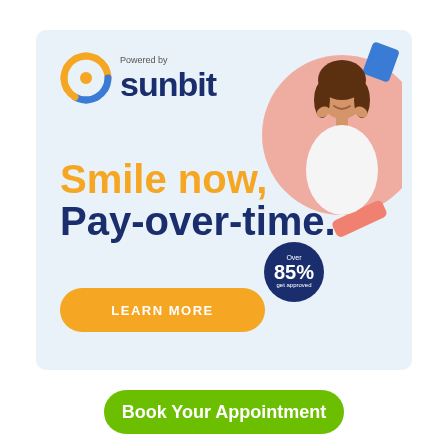[Figure (illustration): Sunbit advertisement banner on light blue background. Shows Sunbit logo (sun wheel icon in orange/blue, 'Powered by sunbit' text), a woman smiling in a pink circle with a blue decoration, an '85% get approved' dark badge, headline 'Smile now, Pay-over-time.' in orange and dark blue, and an orange 'LEARN MORE' button.]
Book Your Appointment